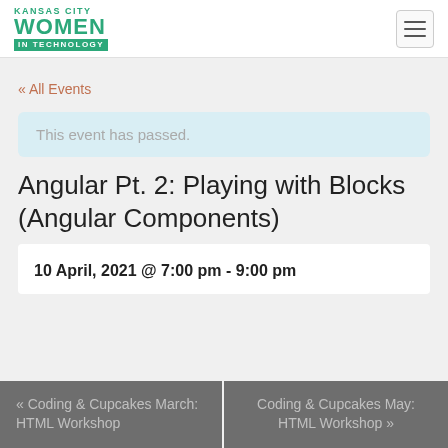KANSAS CITY WOMEN IN TECHNOLOGY
« All Events
This event has passed.
Angular Pt. 2: Playing with Blocks (Angular Components)
10 April, 2021 @ 7:00 pm - 9:00 pm
« Coding & Cupcakes March: HTML Workshop
Coding & Cupcakes May: HTML Workshop »